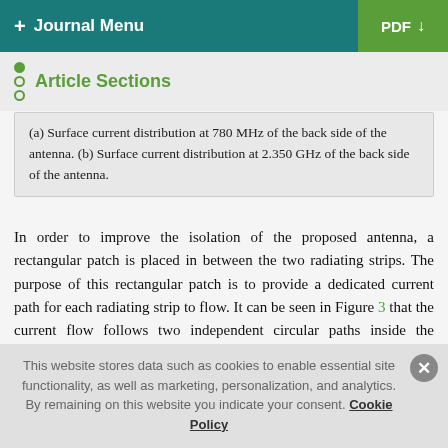+ Journal Menu | PDF ↓
Article Sections
(a) Surface current distribution at 780 MHz of the back side of the antenna. (b) Surface current distribution at 2.350 GHz of the back side of the antenna.
In order to improve the isolation of the proposed antenna, a rectangular patch is placed in between the two radiating strips. The purpose of this rectangular patch is to provide a dedicated current path for each radiating strip to flow. It can be seen in Figure 3 that the current flow follows two independent circular paths inside the rectangular patch. The current flowing from Port
This website stores data such as cookies to enable essential site functionality, as well as marketing, personalization, and analytics. By remaining on this website you indicate your consent. Cookie Policy